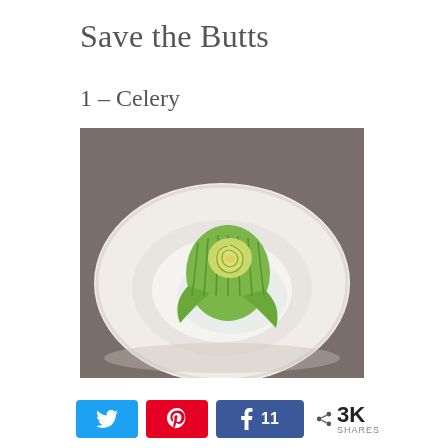Save the Butts
1 – Celery
[Figure (photo): A celery stalk base placed in a white bowl of water, with the cut top growing into a rose-like shape, green leaves curling outward.]
N (Twitter share button) · Pin (Pinterest share button) · f 11 (Facebook share button) · < 3K SHARES